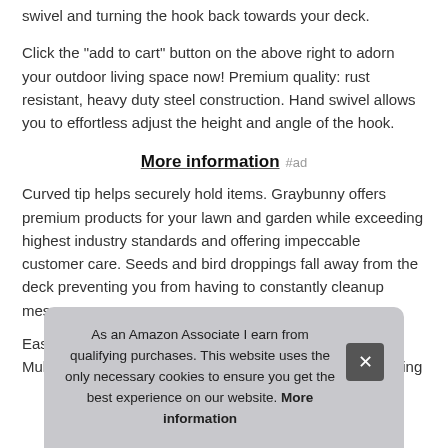swivel and turning the hook back towards your deck.
Click the "add to cart" button on the above right to adorn your outdoor living space now! Premium quality: rust resistant, heavy duty steel construction. Hand swivel allows you to effortless adjust the height and angle of the hook.
More information #ad
Curved tip helps securely hold items. Graybunny offers premium products for your lawn and garden while exceeding highest industry standards and offering impeccable customer care. Seeds and bird droppings fall away from the deck preventing you from having to constantly cleanup messes.
Eas... dark... it, a... Multi-purpose: beautify your outdoor living space by hanging
As an Amazon Associate I earn from qualifying purchases. This website uses the only necessary cookies to ensure you get the best experience on our website. More information